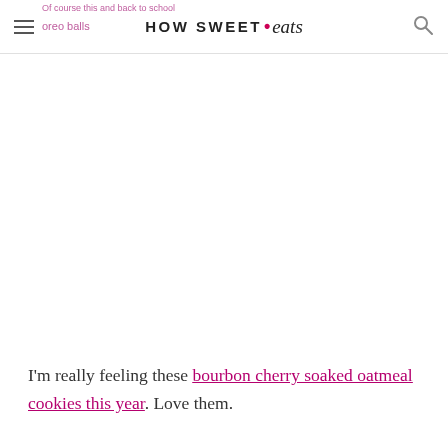HOW SWEET • eats
Of course this and back to school oreo balls
[Figure (photo): Large blank/white image area, content not visible]
I'm really feeling these bourbon cherry soaked oatmeal cookies this year. Love them.